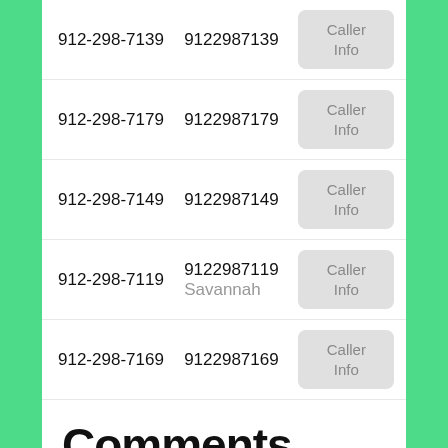| Formatted Number | Raw Number | Action |
| --- | --- | --- |
| 912-298-7139 | 9122987139 | Caller Info |
| 912-298-7179 | 9122987179 | Caller Info |
| 912-298-7149 | 9122987149 | Caller Info |
| 912-298-7119 | 9122987119 / Savannah | Caller Info |
| 912-298-7169 | 9122987169 | Caller Info |
Comments
[Figure (infographic): Horizontal gradient bar from yellow-green to green]
Latest 14 Comments in